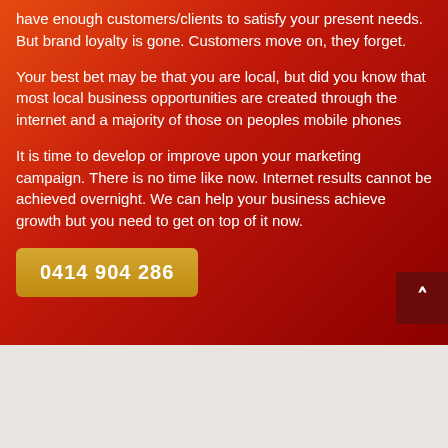have enough customers/clients to satisfy your present needs. But brand loyalty is gone. Customers move on, they forget.
Your best bet may be that you are local, but did you know that most local business opportunities are created through the internet and a majority of those on peoples mobile phones
It is time to develop or improve upon your marketing campaign. There is no time like now. Internet results cannot be achieved overnight. We can help your business achieve growth but you need to get on top of it now.
0414 904 286